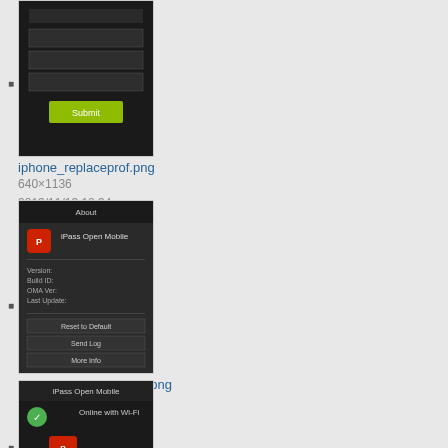iphone_replaceprof.png
640×1136
2013/11/13 18:34
50.8 KB
iphoneaboutscreen2.3.png
640×960
2012/08/23 19:22
79.7 KB
iphonedashboard.png